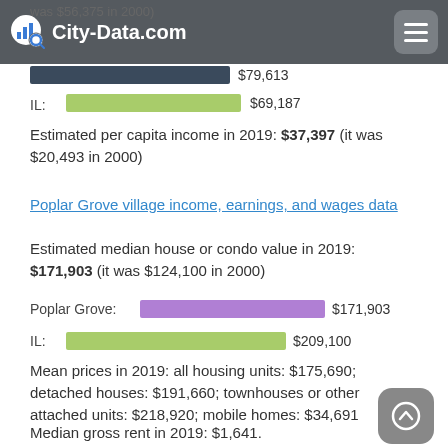City-Data.com
was $56,375 in 2000)
[Figure (bar-chart): Median household income bars]
Estimated per capita income in 2019: $37,397 (it was $20,493 in 2000)
Poplar Grove village income, earnings, and wages data
Estimated median house or condo value in 2019: $171,903 (it was $124,100 in 2000)
[Figure (bar-chart): Median house value bars]
Mean prices in 2019: all housing units: $175,690; detached houses: $191,660; townhouses or other attached units: $218,920; mobile homes: $34,691
Median gross rent in 2019: $1,641.